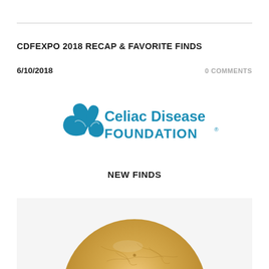CDFEXPO 2018 RECAP & FAVORITE FINDS
6/10/2018
0 COMMENTS
[Figure (logo): Celiac Disease Foundation logo with blue leaf/butterfly graphic and text 'Celiac Disease FOUNDATION®']
NEW FINDS
[Figure (photo): Close-up photo of a round gluten-free cracker with a golden-brown surface texture, partially visible from the bottom of the frame]